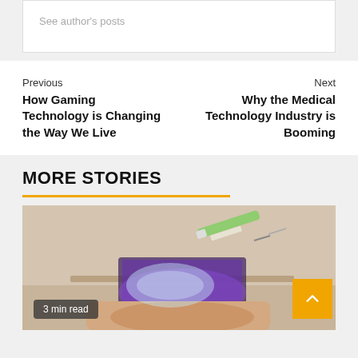See author's posts
Previous
How Gaming Technology is Changing the Way We Live
Next
Why the Medical Technology Industry is Booming
MORE STORIES
[Figure (photo): A hand holding a dental aligner with a syringe above it, blurred computer and shelf in the background. Badge reads '3 min read'.]